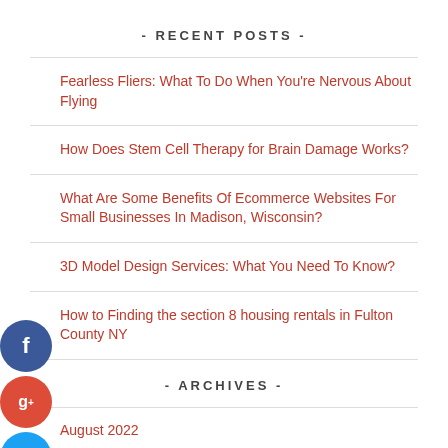- RECENT POSTS -
Fearless Fliers: What To Do When You're Nervous About Flying
How Does Stem Cell Therapy for Brain Damage Works?
What Are Some Benefits Of Ecommerce Websites For Small Businesses In Madison, Wisconsin?
3D Model Design Services: What You Need To Know?
How to Finding the section 8 housing rentals in Fulton County NY
- ARCHIVES -
August 2022